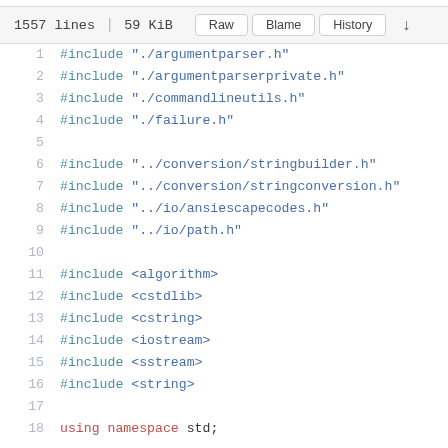1557 lines | 59 KiB   Raw   Blame   History
1  #include "./argumentparser.h"
2  #include "./argumentparserprivate.h"
3  #include "./commandlineutils.h"
4  #include "./failure.h"
5  
6  #include "../conversion/stringbuilder.h"
7  #include "../conversion/stringconversion.h"
8  #include "../io/ansiescapecodes.h"
9  #include "../io/path.h"
10 
11 #include <algorithm>
12 #include <cstdlib>
13 #include <cstring>
14 #include <iostream>
15 #include <sstream>
16 #include <string>
17 
18 using namespace std;